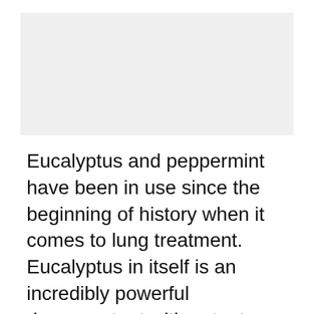[Figure (photo): Image placeholder at top of page]
Eucalyptus and peppermint have been in use since the beginning of history when it comes to lung treatment. Eucalyptus in itself is an incredibly powerful decongestant with potent antibacterial, antifungal and antiviral properties. What’s more, it absorbs immediately into the lungs for faster healing.
I added peppermint and lavender essential oils due to the cooling and rejuvenating effect while the Rosemary with its antioxidant and